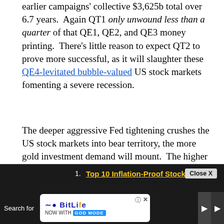earlier campaigns' collective $3,625b total over 6.7 years. Again QT1 only unwound less than a quarter of that QE1, QE2, and QE3 money printing. There's little reason to expect QT2 to prove more successful, as it will slaughter these QE4-levitated bubble-valued US stock markets fomenting a severe recession.
The deeper aggressive Fed tightening crushes the US stock markets into bear territory, the more gold investment demand will mount. The higher that drives gold prices, the more investors will rush back to chase the yellow metal's upside momentum. So seeing gold prices double during this first inflation super-spike since the 1970s doesn't seem like much of a stretch. That will eventually spur big gold
[Figure (screenshot): Advertisement bar at bottom: Top 10 Inflation-Proof Stocks ad with BitLife game advertisement. Close X button. Search for label. Navigation arrows.]